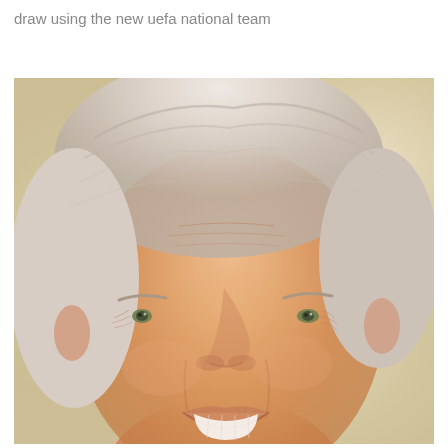draw using the new uefa national team
[Figure (photo): Close-up portrait photo of a smiling elderly man with white/grey hair, fair skin, wrinkles around eyes and forehead, blue/grey eyes, showing teeth in a warm smile. Background is soft blurred beige/yellow tones.]